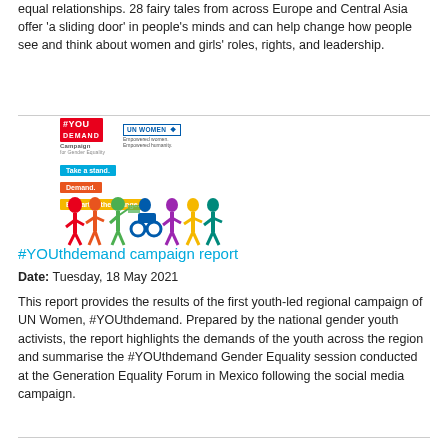equal relationships. 28 fairy tales from across Europe and Central Asia offer 'a sliding door' in people's minds and can help change how people see and think about women and girls' roles, rights, and leadership.
[Figure (logo): #YOUthdemand Campaign logo with UN Women logo, and three colored tags: 'Take a stand.', 'Demand.', 'Be part of the change.' with colorful figures of people below]
#YOUthdemand campaign report
Date: Tuesday, 18 May 2021
This report provides the results of the first youth-led regional campaign of UN Women, #YOUthdemand. Prepared by the national gender youth activists, the report highlights the demands of the youth across the region and summarise the #YOUthdemand Gender Equality session conducted at the Generation Equality Forum in Mexico following the social media campaign.